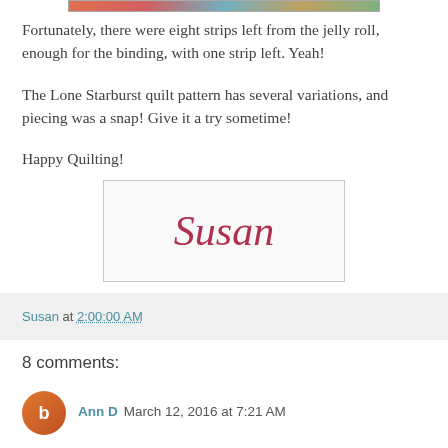[Figure (photo): Partial top edge of a quilt photo showing colorful fabric strips]
Fortunately, there were eight strips left from the jelly roll, enough for the binding, with one strip left. Yeah!
The Lone Starburst quilt pattern has several variations, and piecing was a snap! Give it a try sometime!
Happy Quilting!
[Figure (illustration): Signature image reading 'Susan' in cursive red script on white background with border]
Susan at 2:00:00 AM
8 comments:
Ann D  March 12, 2016 at 7:21 AM